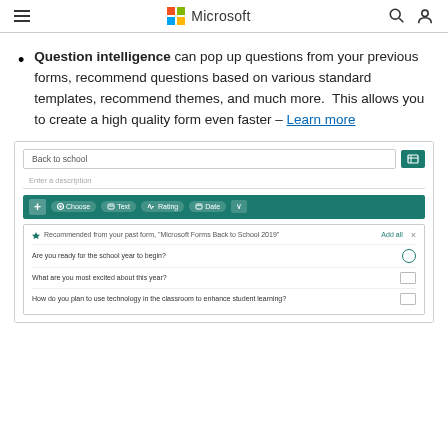Microsoft
Question intelligence can pop up questions from your previous forms, recommend questions based on various standard templates, recommend themes, and much more.  This allows you to create a high quality form even faster – Learn more
[Figure (screenshot): Screenshot of Microsoft Forms interface showing a 'Back to school' form with question toolbar (Choose, Text, Rating, Date options) and a recommendations panel showing suggested questions from past form 'Microsoft Forms Back to School 2019', including questions: 'Are you ready for the school year to begin?', 'What are you most excited about this year?', 'How do you plan to use technology in the classroom to enhance student learning?']